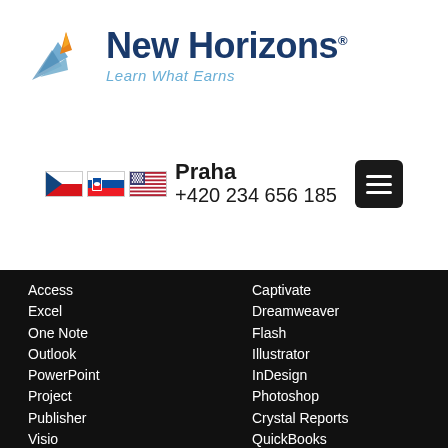[Figure (logo): New Horizons logo with stylized wing/book icon, text 'New Horizons' in dark blue and tagline 'Learn What Earns' in light blue italic]
[Figure (infographic): Three country flags (Czech Republic, Slovakia, USA), city name 'Praha', phone number '+420 234 656 185', and a hamburger menu button]
Access
Excel
One Note
Outlook
PowerPoint
Project
Publisher
Visio
Word
Captivate
Dreamweaver
Flash
Illustrator
InDesign
Photoshop
Crystal Reports
QuickBooks
Business Analysis
Business Skills